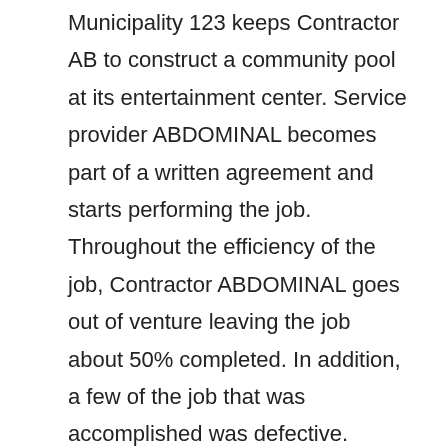Municipality 123 keeps Contractor AB to construct a community pool at its entertainment center. Service provider ABDOMINAL becomes part of a written agreement and starts performing the job. Throughout the efficiency of the job, Contractor ABDOMINAL goes out of venture leaving the job about 50% completed. In addition, a few of the job that was accomplished was defective. Service provider Abdominal Muscle has offered Municipality 123 with an efficiency bond. Town 123 can insist a case in opposition to Contractor AB's efficiency bond for the cost to perform the incomplete job as well as the price to remedy the faulty work. Thus, a performance bond